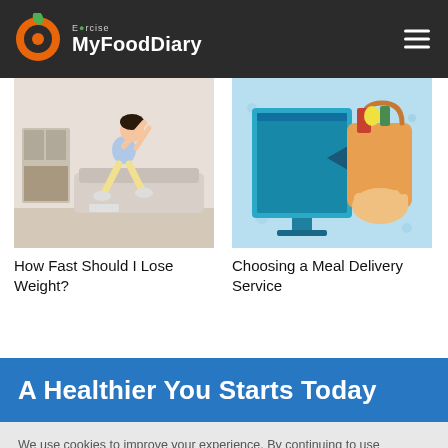Exercise MyFoodDiary
[Figure (photo): Woman doing squat exercise in living room, arms raised]
How Fast Should I Lose Weight?
[Figure (illustration): Hand holding grocery bag coming out of a computer monitor screen — meal delivery concept illustration]
Choosing a Meal Delivery Service
A Healthier You Starts Today
We use cookies to improve your experience. By continuing to use our site, you agree to our privacy policy and our use of cookies.